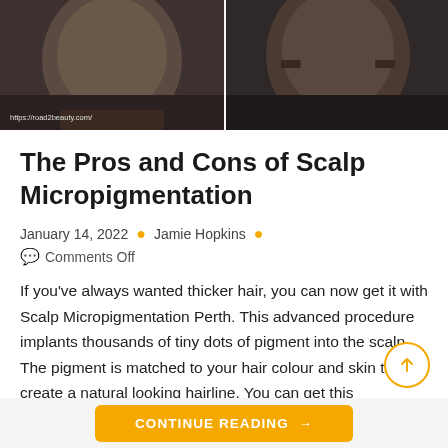[Figure (photo): Before and after photo collage showing two men's heads/scalps side by side, demonstrating scalp micropigmentation results. Left photo shows one man, right photo shows another man. Website watermark 'https://road2beauty.com/' visible on left image.]
The Pros and Cons of Scalp Micropigmentation
January 14, 2022 • Jamie Hopkins • 💬 Comments Off
If you've always wanted thicker hair, you can now get it with Scalp Micropigmentation Perth. This advanced procedure implants thousands of tiny dots of pigment into the scalp. The pigment is matched to your hair colour and skin tone to create a natural looking hairline. You can get this treatment…
CONTINUE READING →